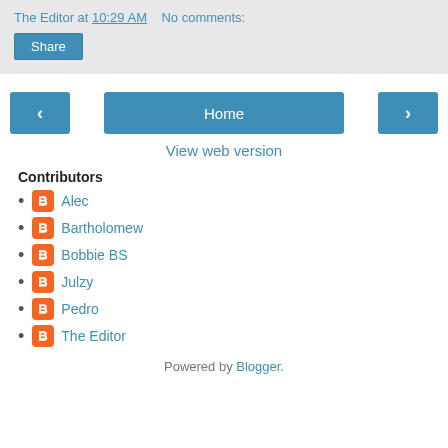The Editor at 10:29 AM   No comments:
Share
< Home >
View web version
Contributors
Alec
Bartholomew
Bobbie BS
Julzy
Pedro
The Editor
Powered by Blogger.